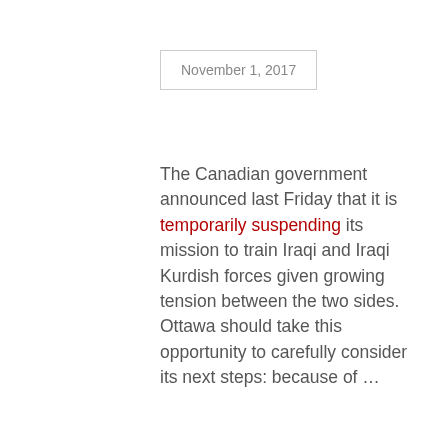November 1, 2017
The Canadian government announced last Friday that it is temporarily suspending its mission to train Iraqi and Iraqi Kurdish forces given growing tension between the two sides. Ottawa should take this opportunity to carefully consider its next steps: because of …
By Thomas Juneau
READ MORE
[Figure (photo): Panel of people seated at a conference table in front of a blue World Council of Churches banner with logos and multilingual text]